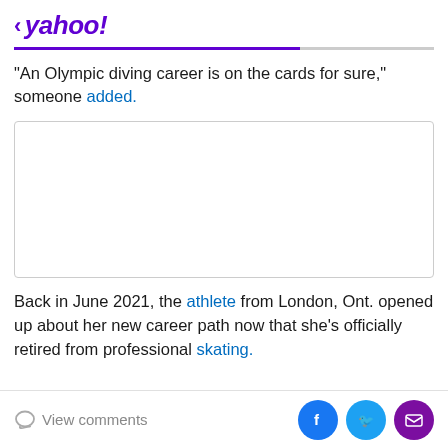< yahoo!
"An Olympic diving career is on the cards for sure," someone added.
[Figure (other): Advertisement placeholder box (empty white rectangle with border)]
Back in June 2021, the athlete from London, Ont. opened up about her new career path now that she's officially retired from professional skating.
View comments | Share on Facebook | Share on Twitter | Share via Email